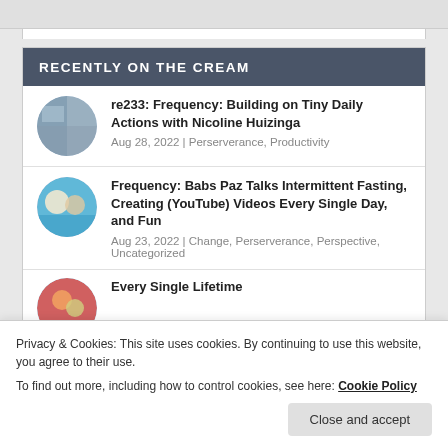RECENTLY ON THE CREAM
re233: Frequency: Building on Tiny Daily Actions with Nicoline Huizinga
Aug 28, 2022 | Perserverance, Productivity
Frequency: Babs Paz Talks Intermittent Fasting, Creating (YouTube) Videos Every Single Day, and Fun
Aug 23, 2022 | Change, Perserverance, Perspective, Uncategorized
Privacy & Cookies: This site uses cookies. By continuing to use this website, you agree to their use.
To find out more, including how to control cookies, see here: Cookie Policy
Close and accept
Every Single Lifetime